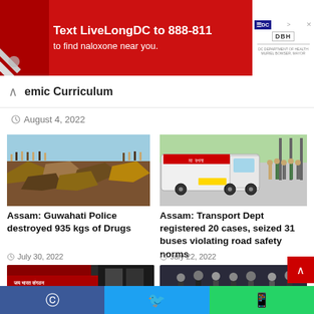[Figure (photo): Red advertisement banner: Text LiveLongDC to 888-811 to find naloxone near you. DC government health ad.]
emic Curriculum
August 4, 2022
[Figure (photo): Crowd of police officers and people at a rubble/debris scene outdoors.]
[Figure (photo): A white bus labeled 'Maa Bagala' stopped on a road with police officers gathered around it.]
Assam: Guwahati Police destroyed 935 kgs of Drugs
Assam: Transport Dept registered 20 cases, seized 31 buses violating road safety norms
July 30, 2022
July 22, 2022
[Figure (photo): Partial view of a red and black banner/sign at bottom left.]
[Figure (photo): Partial view of people in formal attire at a gathering, bottom right.]